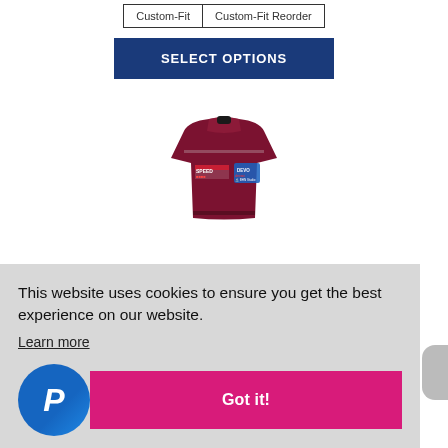Custom-Fit
Custom-Fit Reorder
SELECT OPTIONS
[Figure (photo): A dark maroon/burgundy sports jersey/vest with sponsor logos on the chest]
This website uses cookies to ensure you get the best experience on our website.
Learn more
Got it!